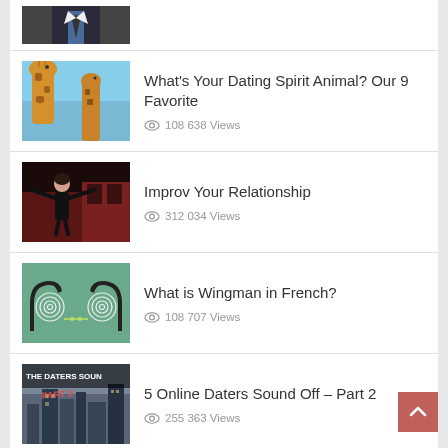[Figure (screenshot): Partial top thumbnail of a man in suit]
What's Your Dating Spirit Animal? Our 9 Favorite
108638 Views
Improv Your Relationship
312034 Views
What is Wingman in French?
108707 Views
5 Online Daters Sound Off – Part 2
255363 Views
[Figure (screenshot): Partial bottom thumbnail of an article listing]